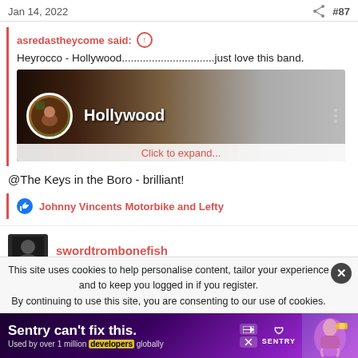Jan 14, 2022   #87
asredastheycome said:
Heyrocco - Hollywood...............................just love this band.
[Figure (screenshot): YouTube video thumbnail for 'Hollywood' by Heyrocco showing the album/video art with circular profile image and title text, with a 'Click to expand...' overlay]
@The Keys in the Boro - brilliant!
Johnny Vincents Motorbike and Lefty
swordtrombonefish
This site uses cookies to help personalise content, tailor your experience and to keep you logged in if you register.
By continuing to use this site, you are consenting to our use of cookies.
[Figure (screenshot): Advertisement banner: 'Sentry can't fix this. Used by over 1 million developers globally' with Sentry logo and figure illustration]